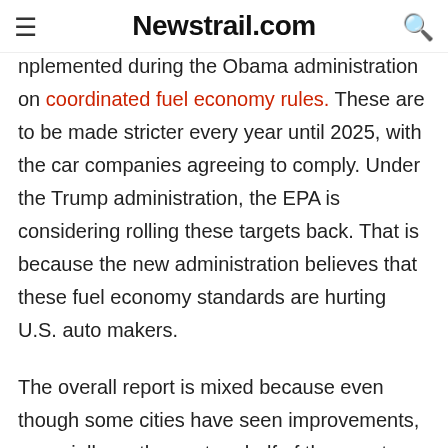Newstrail.com
nplemented during the Obama administration on coordinated fuel economy rules. These are to be made stricter every year until 2025, with the car companies agreeing to comply. Under the Trump administration, the EPA is considering rolling these targets back. That is because the new administration believes that these fuel economy standards are hurting U.S. auto makers.
The overall report is mixed because even though some cities have seen improvements, especially on the eastern half of the country, the western side had a record number of days when they recorder high short-term particle pollution according to Janice Nolen, vice president of the association.